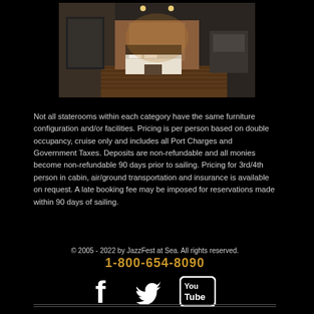[Figure (photo): Interior photo of a cruise ship stateroom showing a bed, wooden flooring, modern furniture, and warm lighting]
Not all staterooms within each category have the same furniture configuration and/or facilities. Pricing is per person based on double occupancy, cruise only and includes all Port Charges and Government Taxes. Deposits are non-refundable and all monies become non-refundable 90 days prior to sailing. Pricing for 3rd/4th person in cabin, air/ground transportation and insurance is available on request. A late booking fee may be imposed for reservations made within 90 days of sailing.
© 2005 - 2022 by JazzFest at Sea. All rights reserved.
1-800-654-8090